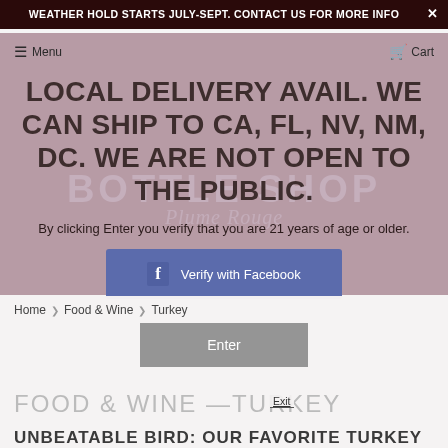WEATHER HOLD STARTS JULY-SEPT. CONTACT US FOR MORE INFO
LOCAL DELIVERY AVAIL. WE CAN SHIP TO CA, FL, NV, NM, DC. WE ARE NOT OPEN TO THE PUBLIC.
By clicking Enter you verify that you are 21 years of age or older.
Verify with Facebook
Home › Food & Wine › Turkey
Enter
FOOD & WINE — TURKEY
UNBEATABLE BIRD: OUR FAVORITE TURKEY